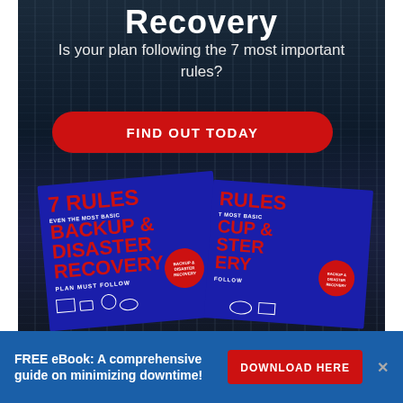Recovery
Is your plan following the 7 most important rules?
FIND OUT TODAY
[Figure (illustration): Two blue book covers titled '7 RULES EVEN THE MOST BASIC BACKUP & DISASTER RECOVERY PLAN MUST FOLLOW' shown on dark server rack background]
FREE eBook: A comprehensive guide on minimizing downtime!
DOWNLOAD HERE